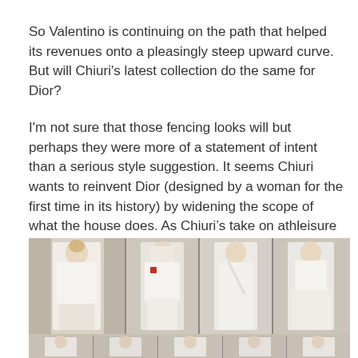So Valentino is continuing on the path that helped its revenues onto a pleasingly steep upward curve. But will Chiuri's latest collection do the same for Dior?
I'm not sure that those fencing looks will but perhaps they were more of a statement of intent than a serious style suggestion. It seems Chiuri wants to reinvent Dior (designed by a woman for the first time in its history) by widening the scope of what the house does. As Chiuri's take on athleisure it was certainly interesting.
[Figure (photo): A collage of fashion runway photos showing models wearing white outfits at what appears to be a Dior fashion show. Multiple models walking the runway in white fencing-inspired and athleisure looks.]